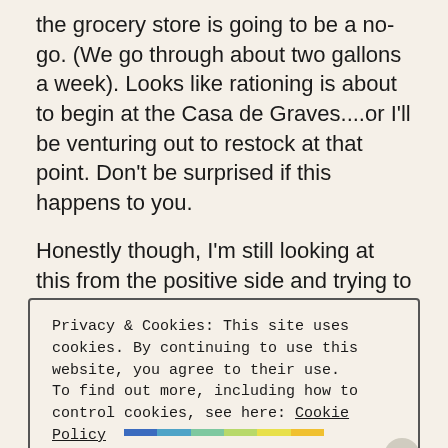the grocery store is going to be a no-go. (We go through about two gallons a week). Looks like rationing is about to begin at the Casa de Graves....or I'll be venturing out to restock at that point. Don't be surprised if this happens to you.
Honestly though, I'm still looking at this from the positive side and trying to keep a "glass half full" standpoint.
Privacy & Cookies: This site uses cookies. By continuing to use this website, you agree to their use.
To find out more, including how to control cookies, see here: Cookie Policy

Close and accept